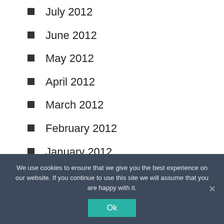July 2012
June 2012
May 2012
April 2012
March 2012
February 2012
January 2012
December 2011
We use cookies to ensure that we give you the best experience on our website. If you continue to use this site we will assume that you are happy with it.